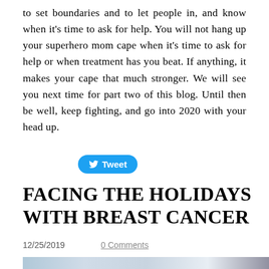to set boundaries and to let people in, and know when it's time to ask for help. You will not hang up your superhero mom cape when it's time to ask for help or when treatment has you beat. If anything, it makes your cape that much stronger. We will see you next time for part two of this blog. Until then be well, keep fighting, and go into 2020 with your head up.
[Figure (other): Twitter Tweet button - blue pill-shaped button with bird icon and 'Tweet' text]
FACING THE HOLIDAYS WITH BREAST CANCER
12/25/2019   0 Comments
[Figure (photo): Partial image strip at bottom of page, appears to be a photo with light blue/grey tones]